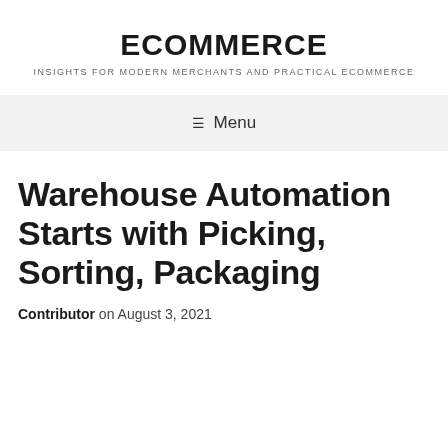ECOMMERCE
INSIGHTS FOR MODERN MERCHANTS AND PRACTICAL ECOMMERCE
☰ Menu
Warehouse Automation Starts with Picking, Sorting, Packaging
Contributor on August 3, 2021